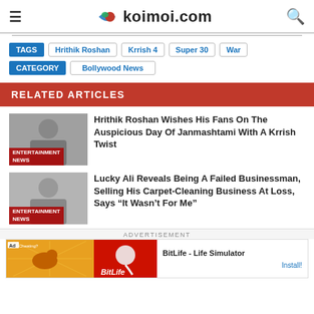koimoi.com
TAGS  Hrithik Roshan  Krrish 4  Super 30  War
CATEGORY  Bollywood News
RELATED ARTICLES
[Figure (photo): Entertainment News thumbnail with man photo]
Hrithik Roshan Wishes His Fans On The Auspicious Day Of Janmashtami With A Krrish Twist
[Figure (photo): Entertainment News thumbnail with man photo]
Lucky Ali Reveals Being A Failed Businessman, Selling His Carpet-Cleaning Business At Loss, Says “It Wasn’t For Me”
ADVERTISEMENT
[Figure (other): Ad banner for BitLife - Life Simulator with Install! button]